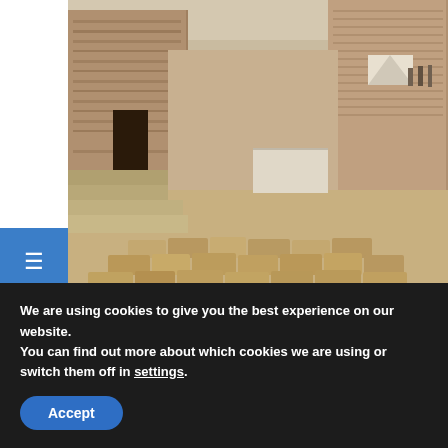[Figure (photo): Archaeological dig site in Egypt showing ancient stone ruins and large stone blocks arranged in rows, with a massive stone wall or structure in the background under a hazy sky.]
CLEOPATRA: SEX,, LIES AND SECRETS
In Egypt, on the edge of the Nile delta, a massive archaeological dig is underway as experts search for the tomb of Egypt's most famous pharaoh. A
We are using cookies to give you the best experience on our website.
You can find out more about which cookies we are using or switch them off in settings.
Accept